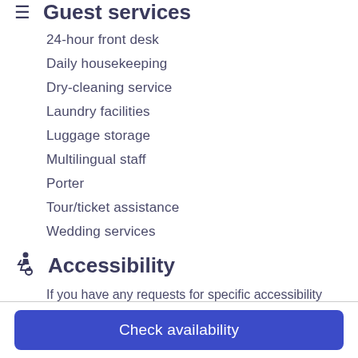Guest services
24-hour front desk
Daily housekeeping
Dry-cleaning service
Laundry facilities
Luggage storage
Multilingual staff
Porter
Tour/ticket assistance
Wedding services
Accessibility
If you have any requests for specific accessibility needs, please contact the property using the information on the reservation confirmation received after booking.
Accessible bathroom (select rooms)
In-room accessibility (select rooms)